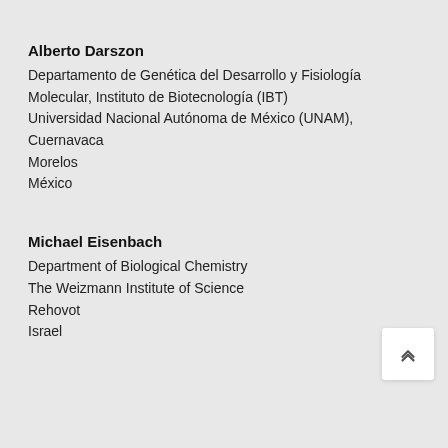Alberto Darszon
Departamento de Genética del Desarrollo y Fisiología Molecular, Instituto de Biotecnología (IBT)
Universidad Nacional Autónoma de México (UNAM), Cuernavaca
Morelos
México
Michael Eisenbach
Department of Biological Chemistry
The Weizmann Institute of Science
Rehovot
Israel